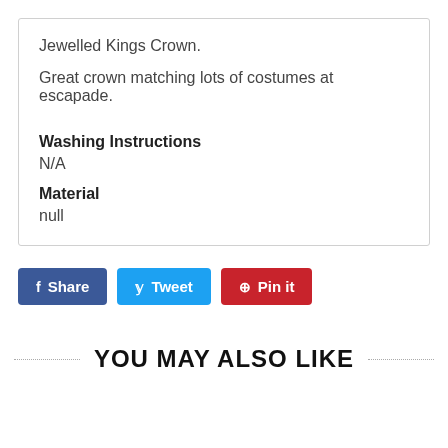Jewelled Kings Crown.
Great crown matching lots of costumes at escapade.
Washing Instructions
N/A
Material
null
Share  Tweet  Pin it
YOU MAY ALSO LIKE